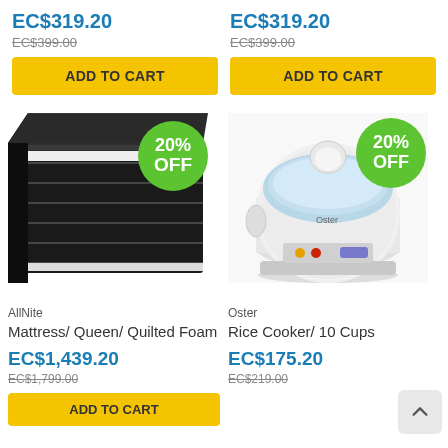EC$319.20
EC$399.00 (strikethrough)
ADD TO CART
EC$319.20
EC$399.00 (strikethrough)
ADD TO CART
[Figure (photo): Dark quilted foam mattress shown at angle with 20% OFF green badge]
[Figure (photo): White Oster rice cooker with blue lid, 10 cups, with 20% OFF green badge]
AllNite
Mattress/ Queen/ Quilted Foam
EC$1,439.20
EC$1,799.00 (strikethrough)
Oster
Rice Cooker/ 10 Cups
EC$175.20
EC$219.00 (strikethrough)